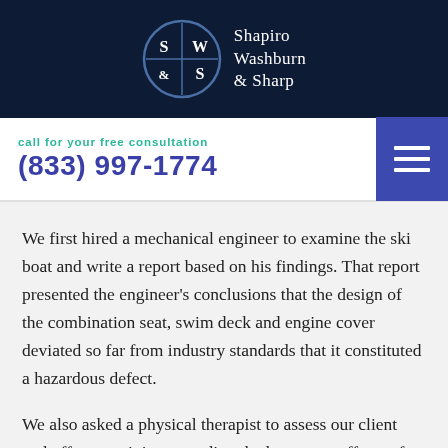[Figure (logo): Shapiro Washburn & Sharp law firm logo — circular emblem with S|W & S letters on dark navy background, with firm name text to the right]
call for your free consultation
(833) 997-1774
We first hired a mechanical engineer to examine the ski boat and write a report based on his findings. That report presented the engineer's conclusions that the design of the combination seat, swim deck and engine cover deviated so far from industry standards that it constituted a hazardous defect.
We also asked a physical therapist to assess our client and offer an opinion regarding the long-term effects of the injury on the person in the...